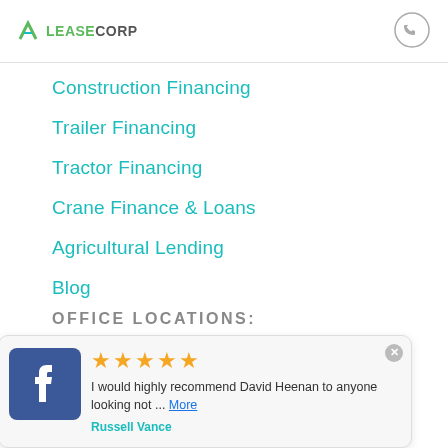LEASECORP
Construction Financing
Trailer Financing
Tractor Financing
Crane Finance & Loans
Agricultural Lending
Blog
OFFICE LOCATIONS:
Unit 2, 354 Mann St
North Gosford, NSW, 2250
Australia
155 Peel St,
North Tamworth, NSW, 2340
★★★★★ I would highly recommend David Heenan to anyone looking not ... More
Russell Vance